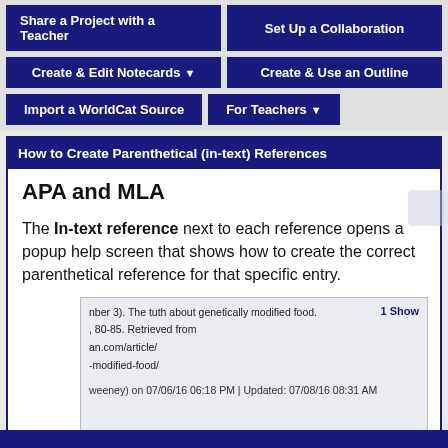Share a Project with a Teacher | Set Up a Collaboration
Create & Edit Notecards ▼ | Create & Use an Outline
Import a WorldCat Source | For Teachers ▼
How to Create Parenthetical (in-text) References
APA and MLA
The In-text reference next to each reference opens a popup help screen that shows how to create the correct parenthetical reference for that specific entry.
[Figure (screenshot): A partial screenshot of a reference entry popup showing citation text: 'nber 3). The tuth about genetically modified food.' '80-85. Retrieved from' 'an.com/article/' '-modified-food/' and metadata 'weeney) on 07/06/16 06:18 PM | Updated: 07/08/16 08:31 AM' with a '1 Show' button on the right.]